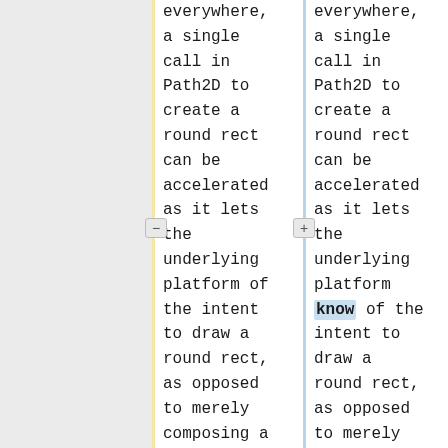everywhere, a single call in Path2D to create a round rect can be accelerated as it lets the underlying platform of the intent to draw a round rect, as opposed to merely composing a round rect from a series of individual
everywhere, a single call in Path2D to create a round rect can be accelerated as it lets the underlying platform know of the intent to draw a round rect, as opposed to merely composing a round rect from a series of